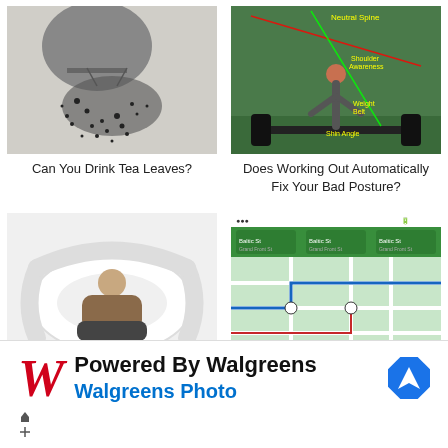[Figure (photo): Black and white photo of tea leaves spilling from a tea bag]
Can You Drink Tea Leaves?
[Figure (photo): Person performing a deadlift in a gym with annotations showing Neutral Spine, Shoulder Position, Shin Angle, Weight Path]
Does Working Out Automatically Fix Your Bad Posture?
[Figure (photo): Person sleeping on a large white U-shaped body pillow]
[Figure (screenshot): Google Maps mobile app screenshot showing Baltic St navigation with map view]
[Figure (logo): Walgreens advertisement banner: Powered By Walgreens, Walgreens Photo]
Powered By Walgreens
Walgreens Photo